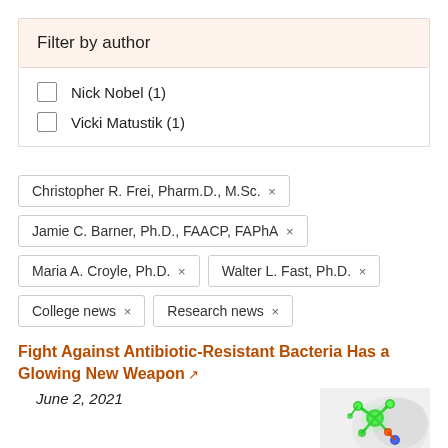Filter by author
Nick Nobel (1)
Vicki Matustik (1)
Christopher R. Frei, Pharm.D., M.Sc. ×
Jamie C. Barner, Ph.D., FAACP, FAPhA ×
Maria A. Croyle, Ph.D. ×
Walter L. Fast, Ph.D. ×
College news ×
Research news ×
Fight Against Antibiotic-Resistant Bacteria Has a Glowing New Weapon
June 2, 2021
[Figure (photo): Scientific illustration showing a glowing molecular structure, green and colorful, against a white/gray background]